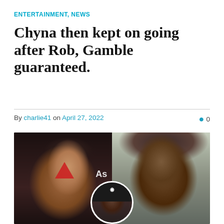ENTERTAINMENT, NEWS
Chyna then kept on going after Rob, Gamble guaranteed.
By charlie41 on April 27, 2022  0
[Figure (photo): Composite photo of three people: a woman (Blac Chyna) on the left with short dark hair and glamorous makeup wearing a sparkly outfit, a bald man (Gamble) on the right in a dark suit with a grey beard standing in front of flowers, and a smaller circular inset photo at the bottom center of a man (Rob Kardashian) wearing a baseball cap.]